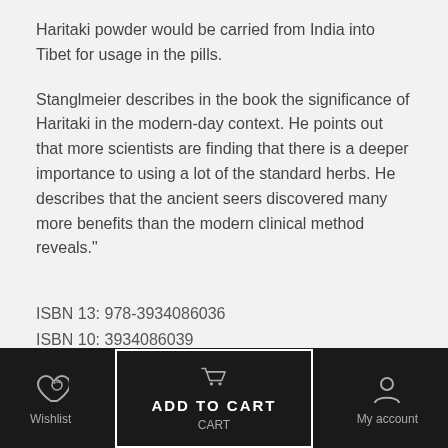Haritaki powder would be carried from India into Tibet for usage in the pills.
Stanglmeier describes in the book the significance of Haritaki in the modern-day context. He points out that more scientists are finding that there is a deeper importance to using a lot of the standard herbs. He describes that the ancient seers discovered many more benefits than the modern clinical method reveals."
ISBN 13: 978-3934086036
ISBN 10: 3934086039
Wishlist  ADD TO CART  Cart  My account